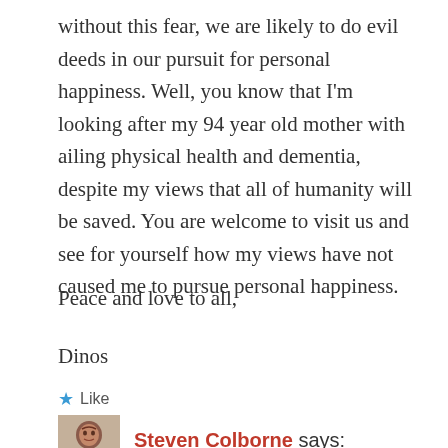without this fear, we are likely to do evil deeds in our pursuit for personal happiness. Well, you know that I'm looking after my 94 year old mother with ailing physical health and dementia, despite my views that all of humanity will be saved. You are welcome to visit us and see for yourself how my views have not caused me to pursue personal happiness.
Peace and love to all,
Dinos
★ Like
Steven Colborne says: